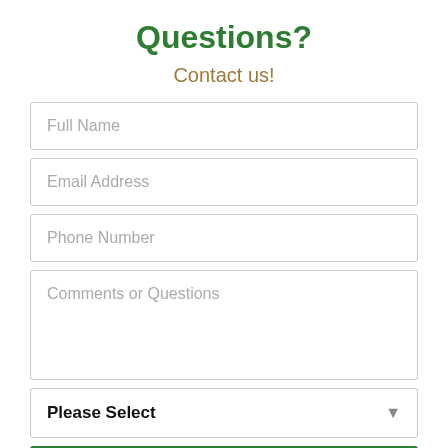Questions?
Contact us!
Full Name
Email Address
Phone Number
Comments or Questions
Please Select
→ Send Your Message